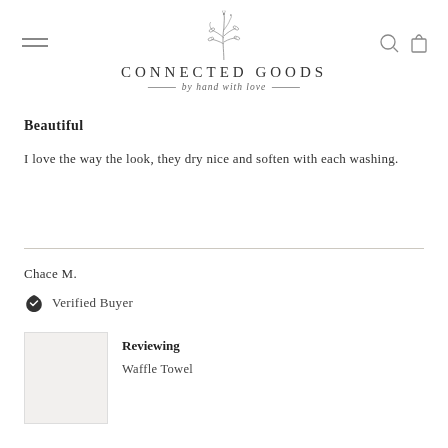[Figure (logo): Connected Goods logo with botanical illustration above the brand name and tagline 'by hand with love']
Beautiful
I love the way the look, they dry nice and soften with each washing.
Chace M.
Verified Buyer
Reviewing
Waffle Towel